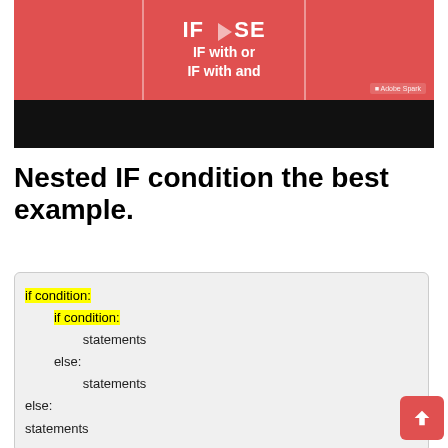[Figure (screenshot): Thumbnail image showing a red background with white text 'IF ELSE', 'IF with or', 'IF with and', an Adobe Spark badge, and a black bar below (video thumbnail)]
Nested IF condition the best example.
if condition:
    if condition:
        statements
    else:
        statements
else:
    statements